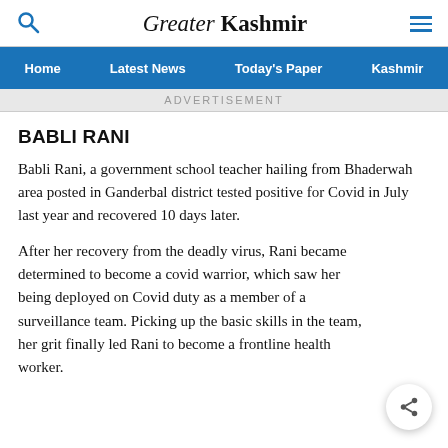Greater Kashmir
Home  Latest News  Today's Paper  Kashmir
ADVERTISEMENT
BABLI RANI
Babli Rani, a government school teacher hailing from Bhaderwah area posted in Ganderbal district tested positive for Covid in July last year and recovered 10 days later.
After her recovery from the deadly virus, Rani became determined to become a covid warrior, which saw her being deployed on Covid duty as a member of a surveillance team. Picking up the basic skills in the team, her grit finally led Rani to become a frontline health worker.